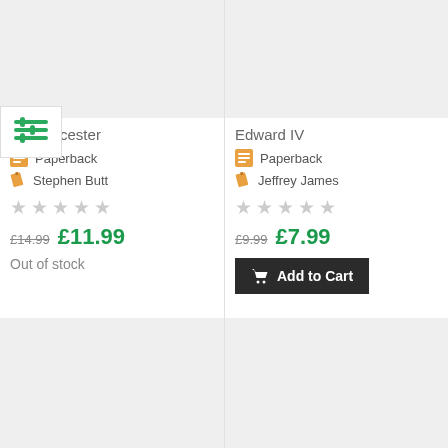[Figure (other): Book cover image placeholder (gray rectangle), left top card]
[Figure (other): Book cover image placeholder (gray rectangle), right top card]
Z of Leicester
Paperback
Stephen Butt
★★★★★ (empty stars rating)
£14.99 £11.99
Out of stock
Edward IV
Paperback
Jeffrey James
★★★★★ (empty stars rating)
£9.99 £7.99
Add to Cart
[Figure (other): Book cover image placeholder (gray rectangle), bottom left]
[Figure (other): Book cover image placeholder (gray rectangle), bottom right]